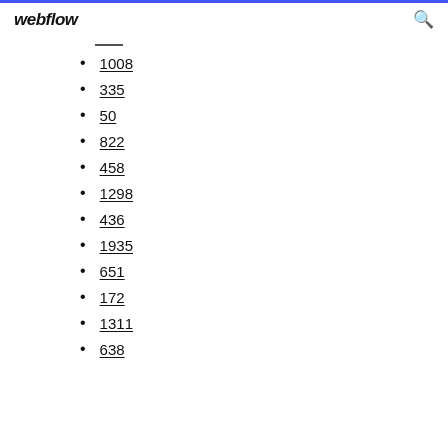webflow
1008
335
50
822
458
1298
436
1935
651
172
1311
638